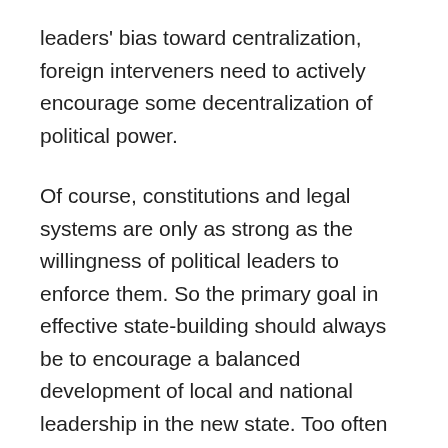leaders' bias toward centralization, foreign interveners need to actively encourage some decentralization of political power.
Of course, constitutions and legal systems are only as strong as the willingness of political leaders to enforce them. So the primary goal in effective state-building should always be to encourage a balanced development of local and national leadership in the new state. Too often in recent state-building interventions, American policymakers have instead focused primarily on developing the capabilities of the national government from the top down.